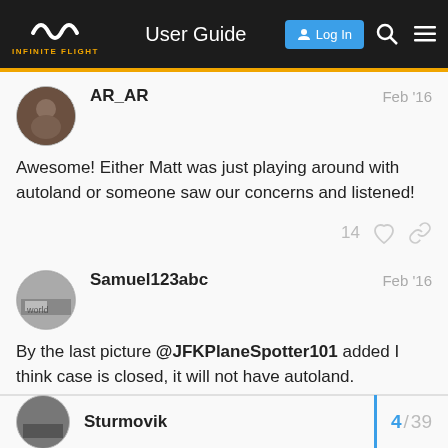User Guide | Log In
AR_AR  Feb '16
Awesome! Either Matt was just playing around with autoland or someone saw our concerns and listened!
Samuel123abc  Feb '16
By the last picture @JFKPlaneSpotter101 added I think case is closed, it will not have autoland.
Sturmovik  4/39